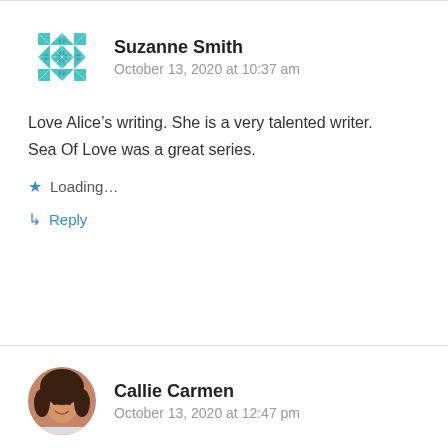[Figure (illustration): Teal/turquoise geometric quilt-pattern avatar icon for Suzanne Smith]
Suzanne Smith
October 13, 2020 at 10:37 am
Love Alice’s writing. She is a very talented writer. Sea Of Love was a great series.
Loading...
Reply
[Figure (photo): Circular profile photo of Callie Carmen, a woman with dark hair, smiling]
Callie Carmen
October 13, 2020 at 12:47 pm